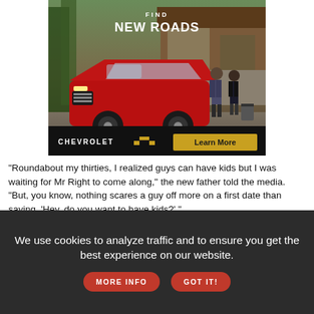[Figure (illustration): Chevrolet advertisement showing red SUV in front of a lodge/cabin with two people standing nearby. Text reads 'FIND NEW ROADS' at top. Chevrolet logo and 'Learn More' button at bottom.]
"Roundabout my thirties, I realized guys can have kids but I was waiting for Mr Right to come along," the new father told the media. "But, you know, nothing scares a guy off more on a first date than saying, 'Hey, do you want to have kids?' "
Resnick explained that he wanted to experience the same sort of close bond with his child that he'd had with his own parents.
We use cookies to analyze traffic and to ensure you get the best experience on our website.